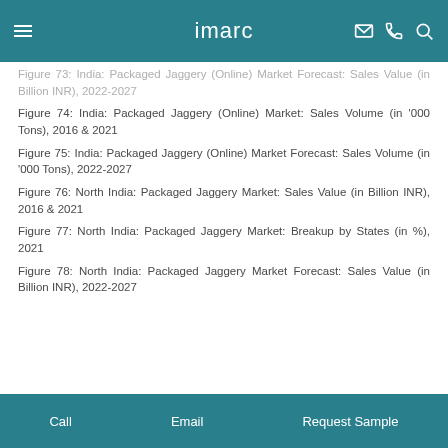imarc
Figure 73: India: Packaged Jaggery (Online) Market Forecast: Sales Value (in Billion INR), 2022-2027
Figure 74: India: Packaged Jaggery (Online) Market: Sales Volume (in '000 Tons), 2016 & 2021
Figure 75: India: Packaged Jaggery (Online) Market Forecast: Sales Volume (in '000 Tons), 2022-2027
Figure 76: North India: Packaged Jaggery Market: Sales Value (in Billion INR), 2016 & 2021
Figure 77: North India: Packaged Jaggery Market: Breakup by States (in %), 2021
Figure 78: North India: Packaged Jaggery Market Forecast: Sales Value (in Billion INR), 2022-2027
Call   Email   Request Sample